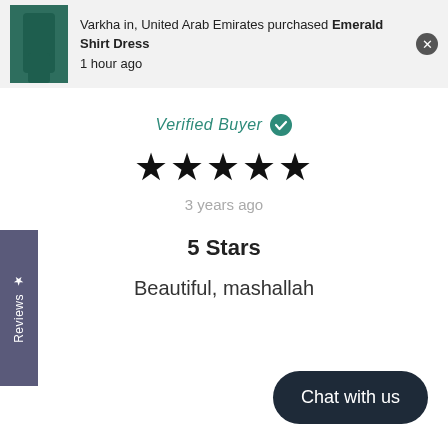Varkha in, United Arab Emirates purchased Emerald Shirt Dress 1 hour ago
Verified Buyer
★★★★★
3 years ago
5 Stars
Beautiful, mashallah
Chat with us